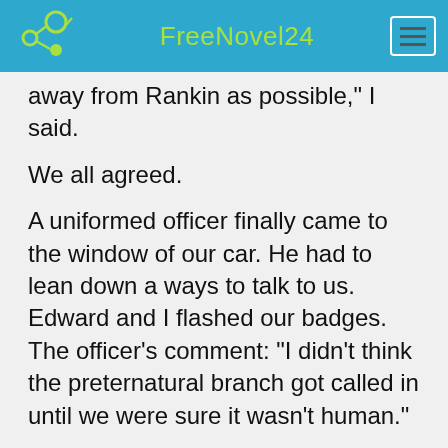FreeNovel24
away from Rankin as possible," I said.
We all agreed.
A uniformed officer finally came to the window of our car. He had to lean down a ways to talk to us. Edward and I flashed our badges. The officer's comment: "I didn't think the preternatural branch got called in until we were sure it wasn't human."
"What made anyone think it wasn't human to begin with?" I asked.
"You'd need more than fingernails and teeth